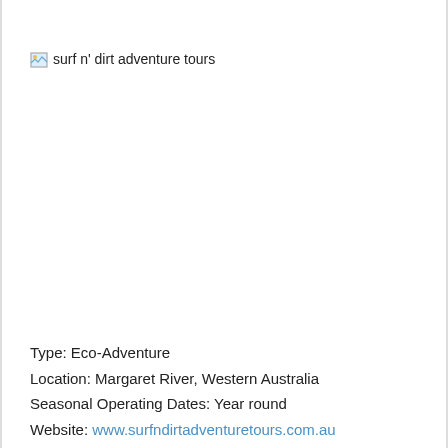[Figure (photo): Broken image placeholder for 'surf n' dirt adventure tours' logo]
Type: Eco-Adventure
Location: Margaret River, Western Australia
Seasonal Operating Dates: Year round
Website: www.surfndirtadventuretours.com.au
Rates: $149-$169